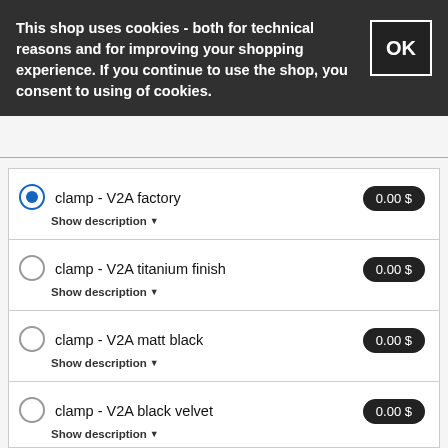This shop uses cookies - both for technical reasons and for improving your shopping experience. If you continue to use the shop, you consent to using of cookies.
clamp - V2A factory | 0.00 $
clamp - V2A titanium finish | 0.00 $
clamp - V2A matt black | 0.00 $
clamp - V2A black velvet | 0.00 $